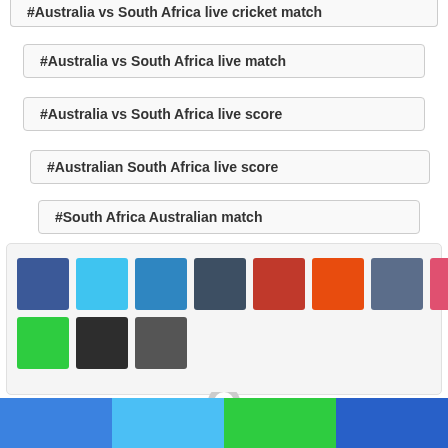#Australia vs South Africa live cricket match
#Australia vs South Africa live match
#Australia vs South Africa live score
#Australian South Africa live score
#South Africa Australian match
[Figure (infographic): Color palette swatches showing 11 colors: blue, light blue, steel blue, dark navy, red, orange-red, slate blue, pink-red, green, dark charcoal, medium grey]
[Figure (illustration): Partial grey avatar/person silhouette icon at the bottom center of the page]
[Figure (infographic): Bottom navigation bar with four colored segments: blue, light blue, green, dark blue]